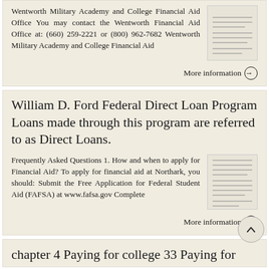Wentworth Military Academy and College Financial Aid Office You may contact the Wentworth Financial Aid Office at: (660) 259-2221 or (800) 962-7682 Wentworth Military Academy and College Financial Aid
More information →
William D. Ford Federal Direct Loan Program Loans made through this program are referred to as Direct Loans.
Frequently Asked Questions 1. How and when to apply for Financial Aid? To apply for financial aid at Northark, you should: Submit the Free Application for Federal Student Aid (FAFSA) at www.fafsa.gov Complete
More information →
chapter 4 Paying for college 33 Paying for